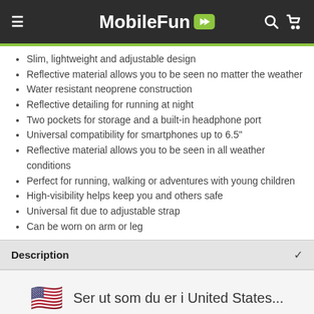MobileFun
Slim, lightweight and adjustable design
Reflective material allows you to be seen no matter the weather
Water resistant neoprene construction
Reflective detailing for running at night
Two pockets for storage and a built-in headphone port
Universal compatibility for smartphones up to 6.5"
Reflective material allows you to be seen in all weather conditions
Perfect for running, walking or adventures with young children
High-visibility helps keep you and others safe
Universal fit due to adjustable strap
Can be worn on arm or leg
Description
Ser ut som du er i United States...
SHOP THERE
DISMISS